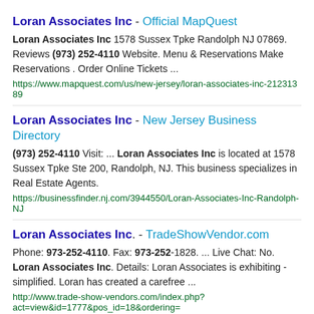Loran Associates Inc - Official MapQuest
Loran Associates Inc 1578 Sussex Tpke Randolph NJ 07869. Reviews (973) 252-4110 Website. Menu & Reservations Make Reservations . Order Online Tickets ...
https://www.mapquest.com/us/new-jersey/loran-associates-inc-21231389
Loran Associates Inc - New Jersey Business Directory
(973) 252-4110 Visit: ... Loran Associates Inc is located at 1578 Sussex Tpke Ste 200, Randolph, NJ. This business specializes in Real Estate Agents.
https://businessfinder.nj.com/3944550/Loran-Associates-Inc-Randolph-NJ
Loran Associates Inc. - TradeShowVendor.com
Phone: 973-252-4110. Fax: 973-252-1828. ... Live Chat: No. Loran Associates Inc. Details: Loran Associates is exhibiting - simplified. Loran has created a carefree ...
http://www.trade-show-vendors.com/index.php?act=view&id=1777&pos_id=18&ordering=
Haas Associates in Mount Arlington, NJ with Reviews - YP.com
(973) 398-8585. Architects General ... Loran Associates Inc 1578 Sussex Tpke